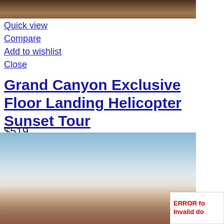[Figure (photo): Top portion of a Grand Canyon sunset scene, showing warm brown and reddish-brown tones, cropped at the top of the page.]
Quick view
Compare
Add to wishlist
Close
Grand Canyon Exclusive Floor Landing Helicopter Sunset Tour
$519
[Figure (photo): Aerial photograph of the Grand Canyon at sunset showing a hazy blue sky transitioning to warm brown canyon floor tones.]
ERROR fo
Invalid do